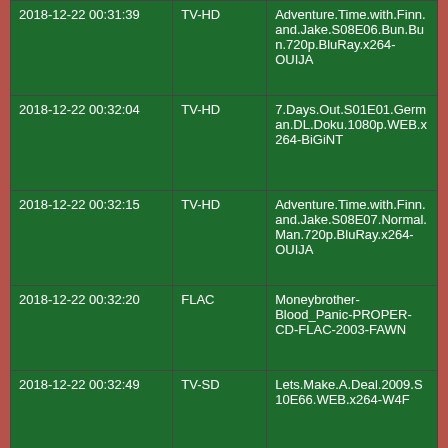| 2018-12-22 00:31:39 | TV-HD | Adventure.Time.with.Finn.and.Jake.S08E06.Bun.Bun.720p.BluRay.x264-OUIJA |
| 2018-12-22 00:32:04 | TV-HD | 7.Days.Out.S01E01.German.DL.Doku.1080p.WEB.x264-BiGiNT |
| 2018-12-22 00:32:15 | TV-HD | Adventure.Time.with.Finn.and.Jake.S08E07.Normal.Man.720p.BluRay.x264-OUIJA |
| 2018-12-22 00:32:20 | FLAC | Moneybrother-Blood_Panic-PROPER-CD-FLAC-2003-FAWN |
| 2018-12-22 00:32:49 | TV-SD | Lets.Make.A.Deal.2009.S10E66.WEB.x264-W4F |